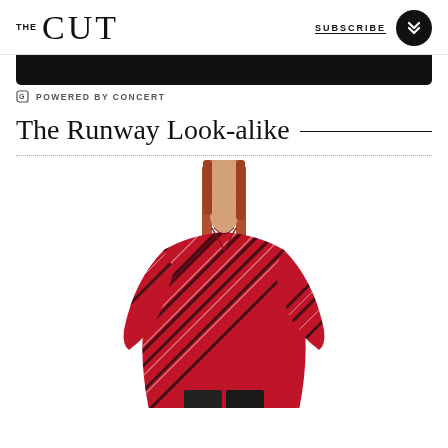THE CUT | SUBSCRIBE
[Figure (other): Black ad banner rectangle]
POWERED BY CONCERT
The Runway Look-alike
[Figure (photo): Model wearing a red and black diagonal stripe oversized blouse, cropped below waist, standing against white background]